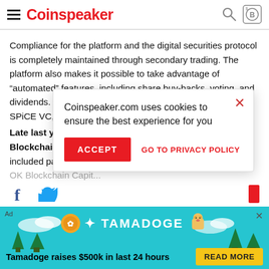Coinspeaker
Compliance for the platform and the digital securities protocol is completely maintained through secondary trading. The platform also makes it possible to take advantage of “automated” features, including share buy-backs, voting, and dividends. So far, Securitize has been able to help 22x, SPiCE VC, Blockchain Capital, and Augmate with their
Late last year, Securitize... Blockchain Capital... included participati... OK Blockchain Capit...
In January 2019, Securitize joined the IBM Blockchain Accelerator
[Figure (screenshot): Cookie consent dialog overlay: 'Coinspeaker.com uses cookies to ensure the best experience for you' with ACCEPT button and GO TO PRIVACY POLICY link]
[Figure (infographic): Tamadoge advertisement banner with logo, dog character, and 'Tamadoge raises $500k in last 24 hours' text with READ MORE button]